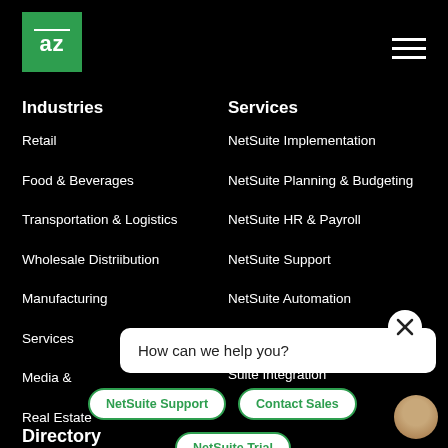[Figure (logo): Green square logo with 'az' text and white bar above]
[Figure (other): Hamburger menu icon (three horizontal white lines)]
Industries
Services
Retail
NetSuite Implementation
Food & Beverages
NetSuite Planning & Budgeting
Transportation & Logistics
NetSuite HR & Payroll
Wholesale Distriibution
NetSuite Support
Manufacturing
NetSuite Automation
Services
Media & [partially obscured]
[partially obscured] oment
Real Estate
[partially obscured] Suite Integration
How can we help you?
NetSuite Support
Contact Sales
NetSuite Trial
Directory